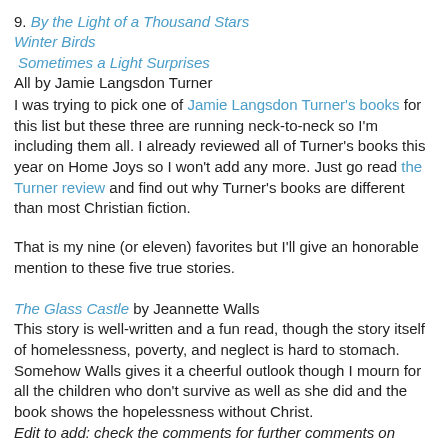9. By the Light of a Thousand Stars
Winter Birds
Sometimes a Light Surprises
All by Jamie Langsdon Turner
I was trying to pick one of Jamie Langsdon Turner's books for this list but these three are running neck-to-neck so I'm including them all. I already reviewed all of Turner's books this year on Home Joys so I won't add any more. Just go read the Turner review and find out why Turner's books are different than most Christian fiction.
That is my nine (or eleven) favorites but I'll give an honorable mention to these five true stories.
The Glass Castle by Jeannette Walls
This story is well-written and a fun read, though the story itself of homelessness, poverty, and neglect is hard to stomach. Somehow Walls gives it a cheerful outlook though I mourn for all the children who don't survive as well as she did and the book shows the hopelessness without Christ.
Edit to add: check the comments for further comments on